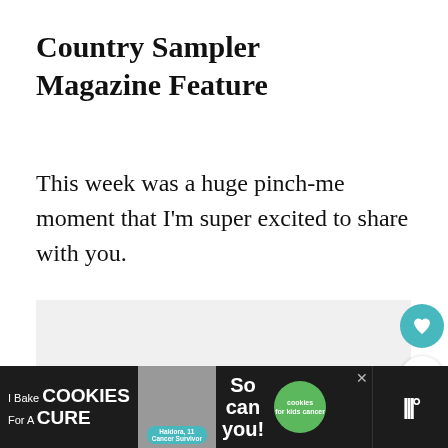Country Sampler Magazine Feature
This week was a huge pinch-me moment that I'm super excited to share with you.
[Figure (screenshot): Gray placeholder image area with teal heart button and share button on the right side. A 'What's Next' panel appears in the lower right with a circular thumbnail and text '20 Fun Valentine's...']
[Figure (infographic): Advertisement banner at the bottom: dark background with 'I Bake COOKIES For A CURE' text, a person image, 'Haldora, 11 Cancer Survivor' badge, 'So can you!' text, green cookies circle logo, close X button, and mute icon on the right.]